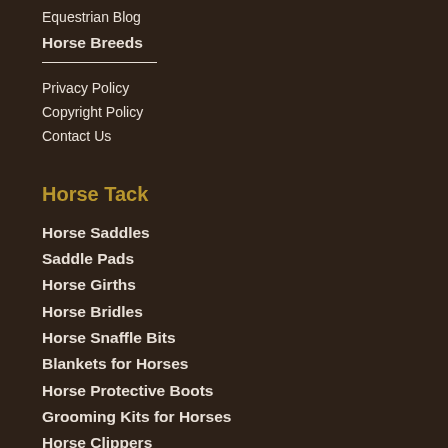Equestrian Blog
Horse Breeds
Privacy Policy
Copyright Policy
Contact Us
Horse Tack
Horse Saddles
Saddle Pads
Horse Girths
Horse Bridles
Horse Snaffle Bits
Blankets for Horses
Horse Protective Boots
Grooming Kits for Horses
Horse Clippers
Automatic Horse Waterers